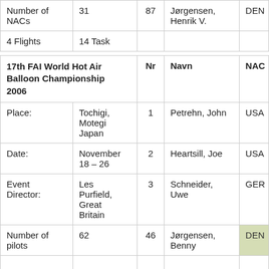|  |  | Nr | Navn | NAC |
| --- | --- | --- | --- | --- |
| Number of NACs | 31 | 87 | Jørgensen, Henrik V. | DEN |
| 4 Flights | 14 Task |  |  |  |
| 17th FAI World Hot Air Balloon Championship 2006 |  | Nr | Navn | NAC |
| Place: | Tochigi, Motegi Japan | 1 | Petrehn, John | USA |
| Date: | November 18 – 26 | 2 | Heartsill, Joe | USA |
| Event Director: | Les Purfield, Great Britain | 3 | Schneider, Uwe | GER |
| Number of pilots | 62 | 46 | Jørgensen, Benny | DEN |